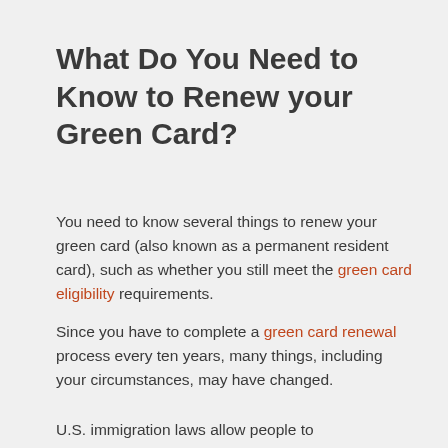What Do You Need to Know to Renew your Green Card?
You need to know several things to renew your green card (also known as a permanent resident card), such as whether you still meet the green card eligibility requirements.
Since you have to complete a green card renewal process every ten years, many things, including your circumstances, may have changed.
U.S. immigration laws allow people to